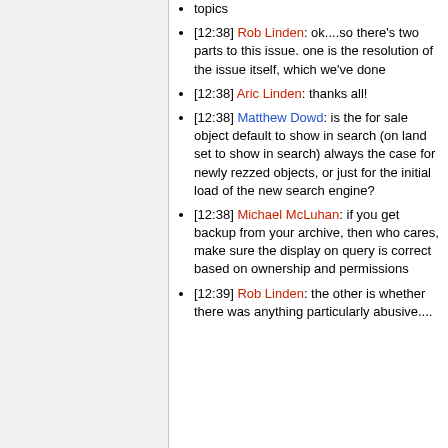topics
[12:38] Rob Linden: ok....so there's two parts to this issue. one is the resolution of the issue itself, which we've done
[12:38] Aric Linden: thanks all!
[12:38] Matthew Dowd: is the for sale object default to show in search (on land set to show in search) always the case for newly rezzed objects, or just for the initial load of the new search engine?
[12:38] Michael McLuhan: if you get backup from your archive, then who cares, make sure the display on query is correct based on ownership and permissions
[12:39] Rob Linden: the other is whether there was anything particularly abusive....